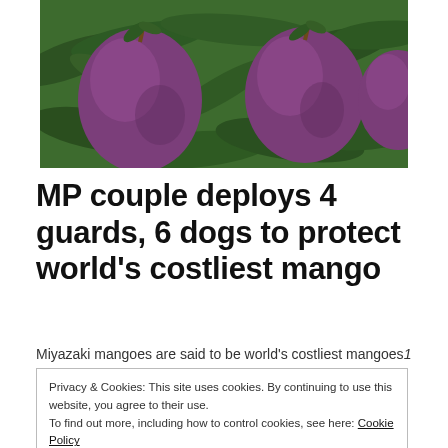[Figure (photo): Close-up photograph of large purple-red Miyazaki mangoes hanging on a tree with green leaves in the background.]
MP couple deploys 4 guards, 6 dogs to protect world's costliest mango
Miyazaki mangoes are said to be world's costliest mangoes1 min read. 17 Jun 2021Livemint.
Privacy & Cookies: This site uses cookies. By continuing to use this website, you agree to their use.
To find out more, including how to control cookies, see here: Cookie Policy
Close and accept
two mango saplings tears ago. However, little they had